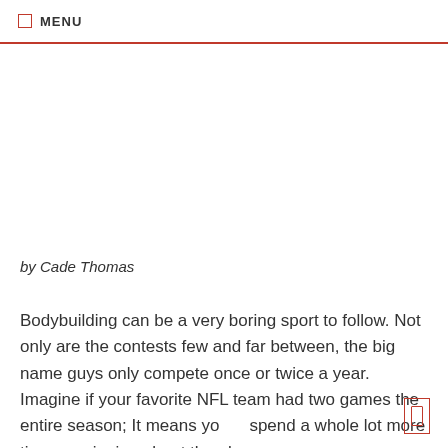MENU
by Cade Thomas
Bodybuilding can be a very boring sport to follow. Not only are the contests few and far between, the big name guys only compete once or twice a year. Imagine if your favorite NFL team had two games the entire season; It means yo spend a whole lot more time gossipping about the players